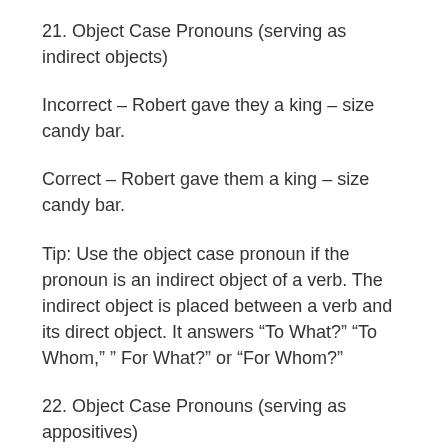21. Object Case Pronouns (serving as indirect objects)
Incorrect – Robert gave they a king – size candy bar.
Correct – Robert gave them a king – size candy bar.
Tip: Use the object case pronoun if the pronoun is an indirect object of a verb. The indirect object is placed between a verb and its direct object. It answers “To What?” “To Whom,” ” For What?” or “For Whom?”
22. Object Case Pronouns (serving as appositives)